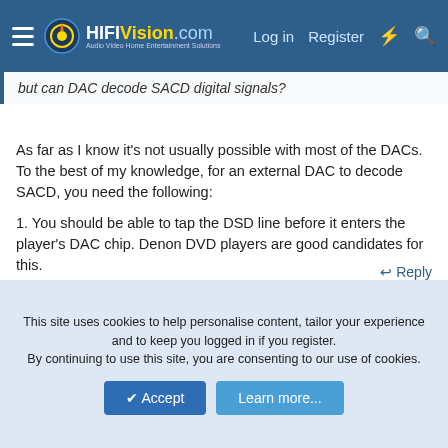HiFiVision.com — Log in | Register
but can DAC decode SACD digital signals?
As far as I know it's not usually possible with most of the DACs. To the best of my knowledge, for an external DAC to decode SACD, you need the following:
1. You should be able to tap the DSD line before it enters the player's DAC chip. Denon DVD players are good candidates for this.
2. The DAC chip should be capable of decoding DSD data from the player. The Sabre DAC chips are known to be able to do this.
↩ Reply
This site uses cookies to help personalise content, tailor your experience and to keep you logged in if you register. By continuing to use this site, you are consenting to our use of cookies.